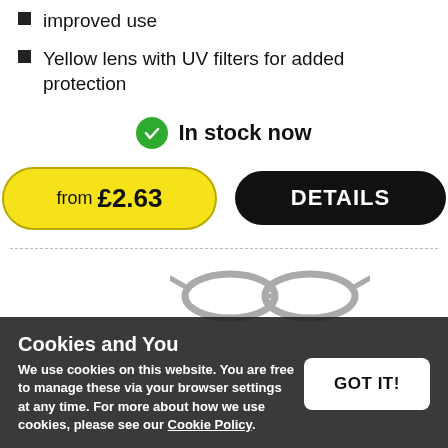improved use
Yellow lens with UV filters for added protection
In stock now
from £2.63
DETAILS
Cookies and You
We use cookies on this website. You are free to manage these via your browser settings at any time. For more about how we use cookies, please see our Cookie Policy.
GOT IT!